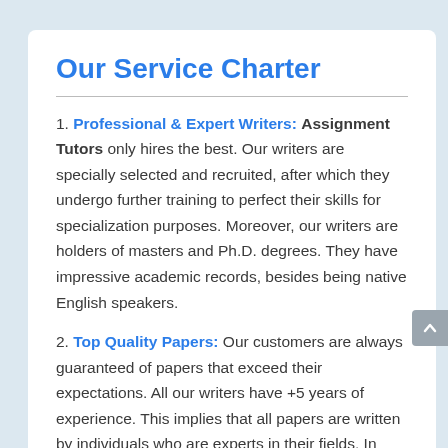Our Service Charter
1. Professional & Expert Writers: Assignment Tutors only hires the best. Our writers are specially selected and recruited, after which they undergo further training to perfect their skills for specialization purposes. Moreover, our writers are holders of masters and Ph.D. degrees. They have impressive academic records, besides being native English speakers.
2. Top Quality Papers: Our customers are always guaranteed of papers that exceed their expectations. All our writers have +5 years of experience. This implies that all papers are written by individuals who are experts in their fields. In addition, the quality team reviews all the papers before sending them to the customers.